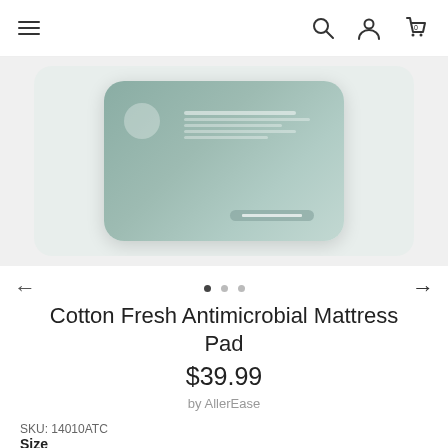Navigation bar with hamburger menu, search, account, and cart icons
[Figure (photo): Product photo of Cotton Fresh Antimicrobial Mattress Pad packaging in a light teal/green color, shown in a rounded-corner image carousel on a light gray background]
< (left arrow) • • • → (right arrow) — carousel navigation dots
Cotton Fresh Antimicrobial Mattress Pad
$39.99
by AllerEase
SKU: 14010ATC
Size